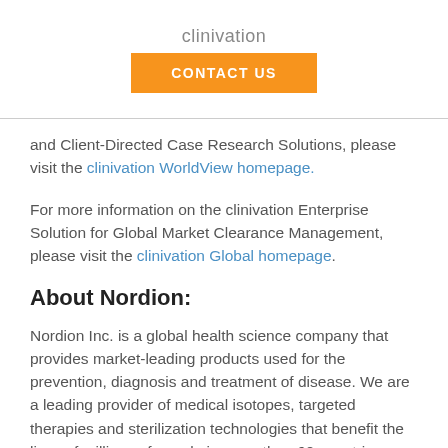clinivation
CONTACT US
and Client-Directed Case Research Solutions, please visit the clinivation WorldView homepage.
For more information on the clinivation Enterprise Solution for Global Market Clearance Management, please visit the clinivation Global homepage.
About Nordion:
Nordion Inc. is a global health science company that provides market-leading products used for the prevention, diagnosis and treatment of disease. We are a leading provider of medical isotopes, targeted therapies and sterilization technologies that benefit the lives of millions of people in more than 60 countries around the world. Our products are used daily by